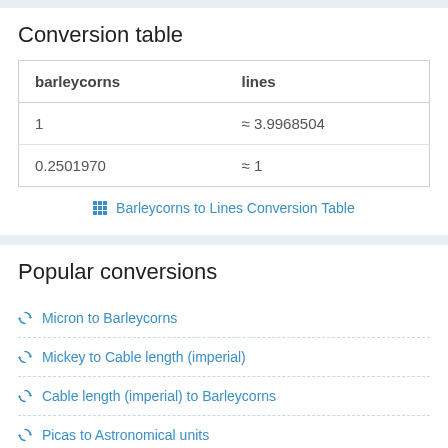Conversion table
| barleycorns | lines |
| --- | --- |
| 1 | ≈ 3.9968504 |
| 0.2501970 | ≈ 1 |
⊞ Barleycorns to Lines Conversion Table
Popular conversions
⇄ Micron to Barleycorns
⇄ Mickey to Cable length (imperial)
⇄ Cable length (imperial) to Barleycorns
⇄ Picas to Astronomical units